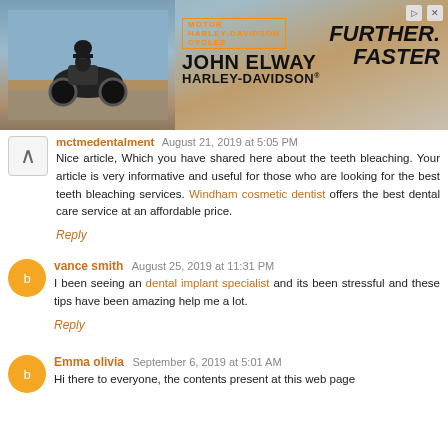[Figure (photo): John Elway Harley-Davidson advertisement banner with motorcycle image, orange HD shield logo, JOHN ELWAY text, HARLEY-DAVIDSON text, and FURTHER. FASTER slogan]
mctmedentalment August 21, 2019 at 5:05 PM
Nice article, Which you have shared here about the teeth bleaching. Your article is very informative and useful for those who are looking for the best teeth bleaching services. Windham cosmetic dentist offers the best dental care service at an affordable price.
Reply
vance smith August 25, 2019 at 11:31 PM
I been seeing an dental implant specialist and its been stressful and these tips have been amazing help me a lot.
Reply
Emma olivia September 6, 2019 at 5:01 AM
Hi there to everyone, the contents present at this web page